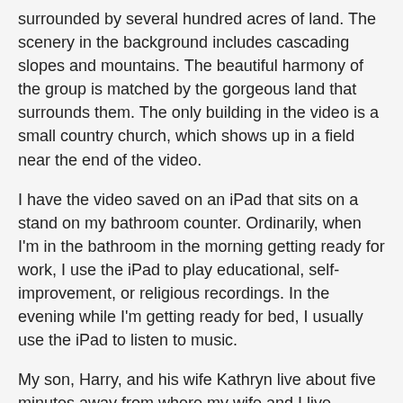surrounded by several hundred acres of land. The scenery in the background includes cascading slopes and mountains. The beautiful harmony of the group is matched by the gorgeous land that surrounds them. The only building in the video is a small country church, which shows up in a field near the end of the video.
I have the video saved on an iPad that sits on a stand on my bathroom counter. Ordinarily, when I'm in the bathroom in the morning getting ready for work, I use the iPad to play educational, self-improvement, or religious recordings. In the evening while I'm getting ready for bed, I usually use the iPad to listen to music.
My son, Harry, and his wife Kathryn live about five minutes away from where my wife and I live. Because they live so close to us, they're able to stop by our house to visit on a regular basis. Whenever they stop by for a visit, their two oldest sons, Harry and Liam, immediately start looking around the house for me. Harry is 5 years old and Liam is 3 years old.
My son and his boys frequently come over to my house on Saturday mornings. I'm usually in my bathroom shaving or